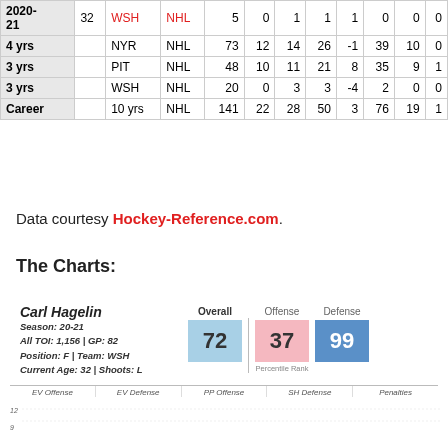| Season | Age | Team | League | GP | G | A | Pts | +/- | PIM | PP | SH |
| --- | --- | --- | --- | --- | --- | --- | --- | --- | --- | --- | --- |
| 2020-21 | 32 | WSH | NHL | 5 | 0 | 1 | 1 | 1 | 0 | 0 | 0 |
| 4 yrs |  | NYR | NHL | 73 | 12 | 14 | 26 | -1 | 39 | 10 | 0 |
| 3 yrs |  | PIT | NHL | 48 | 10 | 11 | 21 | 8 | 35 | 9 | 1 |
| 3 yrs |  | WSH | NHL | 20 | 0 | 3 | 3 | -4 | 2 | 0 | 0 |
| Career |  | 10 yrs | NHL | 141 | 22 | 28 | 50 | 3 | 76 | 19 | 1 |
Data courtesy Hockey-Reference.com.
The Charts:
[Figure (infographic): Player card for Carl Hagelin showing Overall score 72, Offense 37, Defense 99. Season 20-21, All TOI: 1,156, GP: 82, Position: F, Team: WSH, Current Age: 32, Shoots: L. Below is a bar chart area with categories EV Offense, EV Defense, PP Offense, SH Defense, Penalties with y-axis label showing values around 9 and 12.]